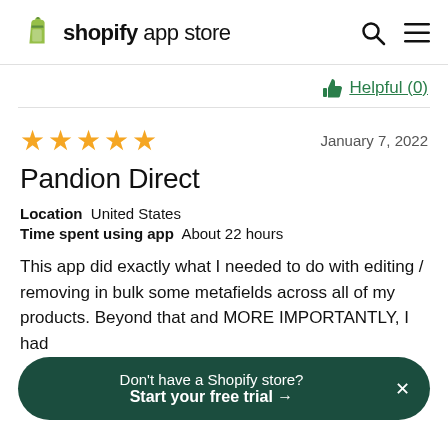shopify app store
Helpful (0)
★★★★★   January 7, 2022
Pandion Direct
Location  United States
Time spent using app  About 22 hours
This app did exactly what I needed to do with editing / removing in bulk some metafields across all of my products. Beyond that and MORE IMPORTANTLY, I had
Don't have a Shopify store?
Start your free trial →